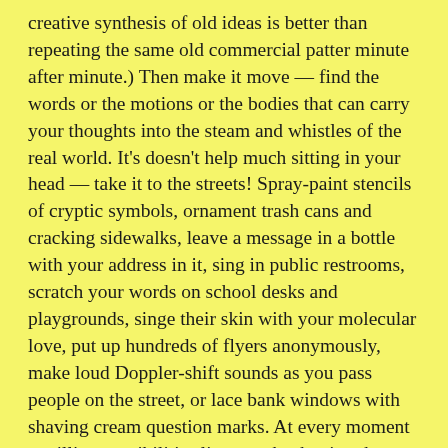creative synthesis of old ideas is better than repeating the same old commercial patter minute after minute.) Then make it move — find the words or the motions or the bodies that can carry your thoughts into the steam and whistles of the real world. It's doesn't help much sitting in your head — take it to the streets! Spray-paint stencils of cryptic symbols, ornament trash cans and cracking sidewalks, leave a message in a bottle with your address in it, sing in public restrooms, scratch your words on school desks and playgrounds, singe their skin with your molecular love, put up hundreds of flyers anonymously, make loud Doppler-shift sounds as you pass people on the street, or lace bank windows with shaving cream question marks. At every moment a million possibilities lie open, beckoning the explorer to break the patterns that trap and enchain, to find new ones that drive back the darkness.